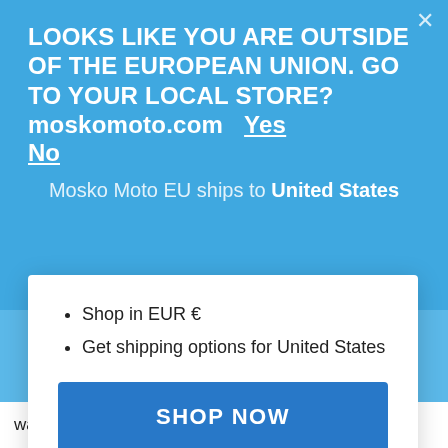LOOKS LIKE YOU ARE OUTSIDE OF THE EUROPEAN UNION. GO TO YOUR LOCAL STORE? moskomoto.com   Yes
   No
Mosko Moto EU ships to United States
Shop in EUR €
Get shipping options for United States
SHOP NOW
CHANGE SHIPPING COUNTRY
water out and your gear dry as a bone.